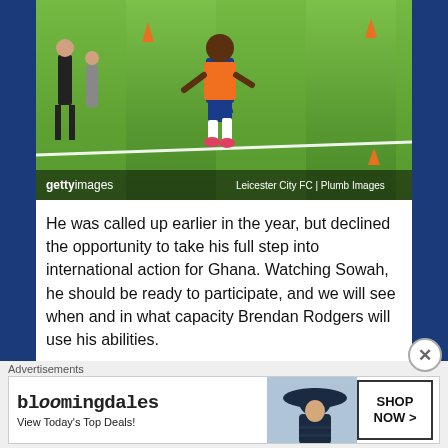[Figure (photo): Soccer player in orange training bib running on a green training pitch with cones visible, referee/coach in background. Getty Images photo credited to Leicester City FC | Plumb Images.]
He was called up earlier in the year, but declined the opportunity to take his full step into international action for Ghana. Watching Sowah, he should be ready to participate, and we will see when and in what capacity Brendan Rodgers will use his abilities.
There are still a lot of questions regarding next season and still a bit of work to be done before we
[Figure (screenshot): Bloomingdale's advertisement banner: 'bloomingdales - View Today's Top Deals!' with SHOP NOW > button and image of woman in hat.]